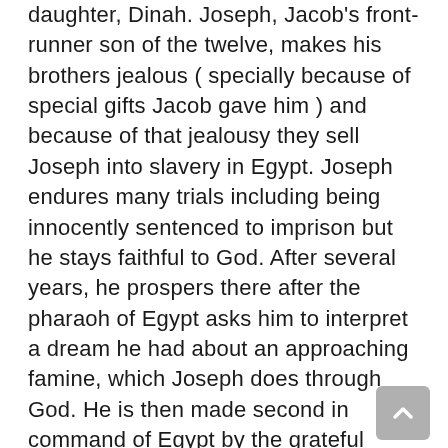daughter, Dinah. Joseph, Jacob's front-runner son of the twelve, makes his brothers jealous ( specially because of special gifts Jacob gave him ) and because of that jealousy they sell Joseph into slavery in Egypt. Joseph endures many trials including being innocently sentenced to imprison but he stays faithful to God. After several years, he prospers there after the pharaoh of Egypt asks him to interpret a dream he had about an approaching famine, which Joseph does through God. He is then made second in command of Egypt by the grateful pharaoh, and by and by on, he is reunited with his father and brothers, who fail to recognize him and plead for food. After much manipulation to see if they silent hate him, Joseph reveals himself, forgives them for